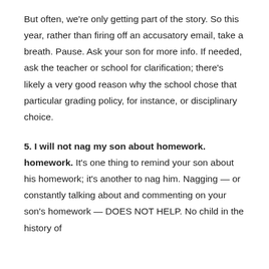But often, we're only getting part of the story. So this year, rather than firing off an accusatory email, take a breath. Pause. Ask your son for more info. If needed, ask the teacher or school for clarification; there's likely a very good reason why the school chose that particular grading policy, for instance, or disciplinary choice.
5. I will not nag my son about homework.
It's one thing to remind your son about his homework; it's another to nag him. Nagging — or constantly talking about and commenting on your son's homework — DOES NOT HELP. No child in the history of